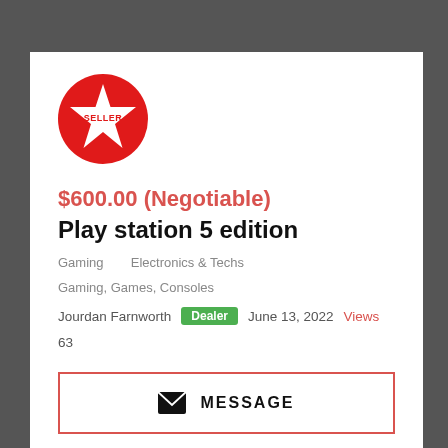[Figure (logo): Red circle with white star and text SELLER in red inside the star]
$600.00 (Negotiable)
Play station 5 edition
Gaming   Electronics & Techs   Gaming, Games, Consoles
Jourdan Farnworth  Dealer  June 13, 2022  Views  63
MESSAGE
CLICK TO VIEW